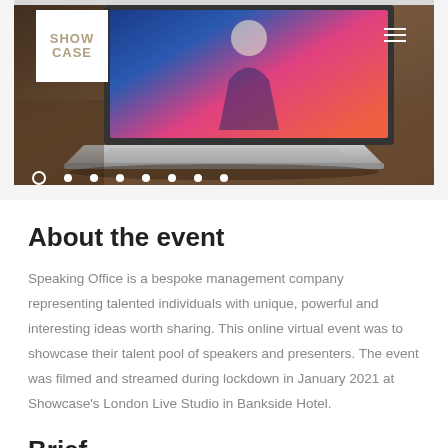[Figure (photo): Hero image of a laptop on a wooden desk with colorful display screen visible, with Showcase logo in top-left and hamburger menu in top-right]
About the event
Speaking Office is a bespoke management company representing talented individuals with unique, powerful and interesting ideas worth sharing. This online virtual event was to showcase their talent pool of speakers and presenters. The event was filmed and streamed during lockdown in January 2021 at Showcase's London Live Studio in Bankside Hotel.
Brief